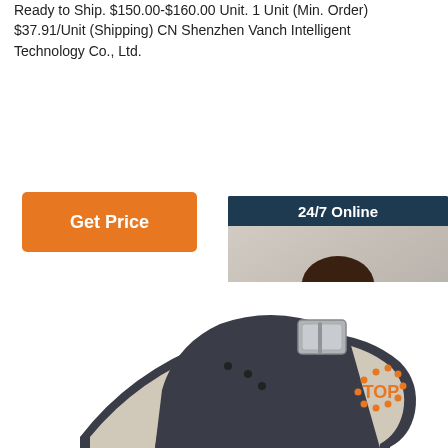Ready to Ship. $150.00-$160.00 Unit. 1 Unit (Min. Order) $37.91/Unit (Shipping) CN Shenzhen Vanch Intelligent Technology Co., Ltd.
[Figure (screenshot): Orange 'Get Price' button]
[Figure (screenshot): 24/7 Online chat widget with customer support agent photo, 'Click here for free chat!' text, and orange QUOTATION button]
[Figure (photo): Close-up photo of a dark grey/black silicone wristband/smartwatch strap with a metal buckle clasp, shown on white background. Orange 'TOP' badge with dots in bottom right corner.]